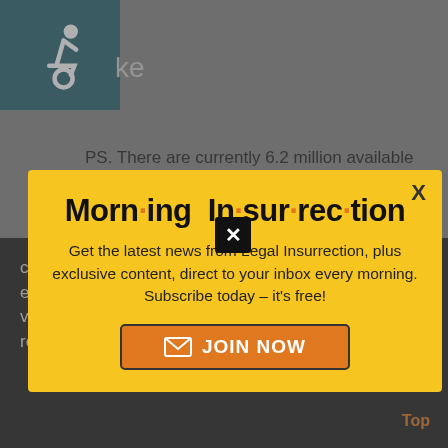[Figure (logo): Accessibility icon (wheelchair symbol) in teal square, partial page header]
ke
PS. There are currently 6.2 million available
[Figure (screenshot): Modal popup with yellow background. Title: 'Morn·ing In·sur·rec·tion'. Body text: 'Get the latest news from Legal Insurrection, plus exclusive content, direct to your inbox every morning. Subscribe today – it's free!' Button: 'JOIN NOW'. Close X in top right.]
come to encourage our kids to explore ALL the educational options available to them, and ALL of the vocations waiting to be filled. That message has been restricted for too long.